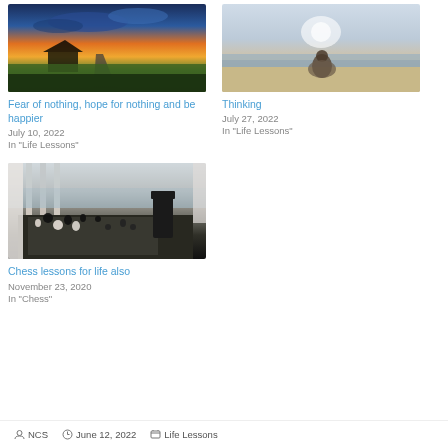[Figure (photo): A house at sunset with colorful sky, road and green field]
Fear of nothing, hope for nothing and be happier
July 10, 2022
In "Life Lessons"
[Figure (photo): Person sitting on a sandy beach looking at the ocean under a cloudy sky]
Thinking
July 27, 2022
In "Life Lessons"
[Figure (photo): Chess board with pieces on a table near a window overlooking the sea]
Chess lessons for life also
November 23, 2020
In "Chess"
NCS   June 12, 2022   Life Lessons